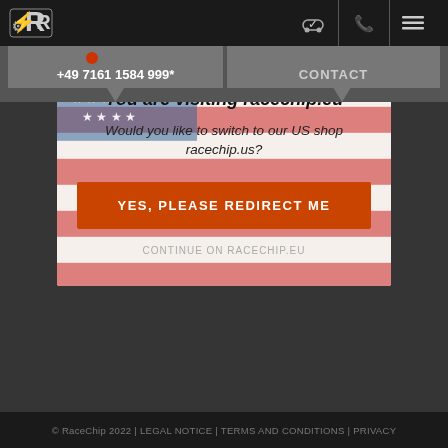RaceChip logo and navigation icons
+49 7161 1584 999*
CONTACT
[Figure (screenshot): Modal dialog on racechip.eu website with US flag background. Title: 'You are visiting racechip.eu'. Subtitle: 'Would you like to switch to our US shop racecip.us?'. Orange button: 'YES, PLEASE REDIRECT ME'. Link: 'CONTINUE ON RACECHIP.EU']
© RaceChip 2022 | LEGAL NOTICE | TERMS AND CONDITIONS | PRIVACY